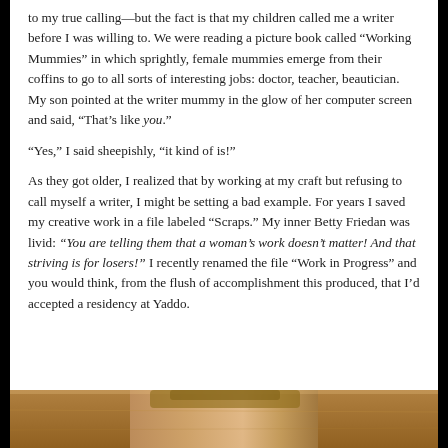to my true calling—but the fact is that my children called me a writer before I was willing to. We were reading a picture book called “Working Mummies” in which sprightly, female mummies emerge from their coffins to go to all sorts of interesting jobs: doctor, teacher, beautician. My son pointed at the writer mummy in the glow of her computer screen and said, “That’s like you.”
“Yes,” I said sheepishly, “it kind of is!”
As they got older, I realized that by working at my craft but refusing to call myself a writer, I might be setting a bad example. For years I saved my creative work in a file labeled “Scraps.” My inner Betty Friedan was livid: “You are telling them that a woman’s work doesn’t matter! And that striving is for losers!” I recently renamed the file “Work in Progress” and you would think, from the flush of accomplishment this produced, that I’d accepted a residency at Yaddo.
[Figure (photo): Partial photo of a person, cropped at bottom of page, warm tones]